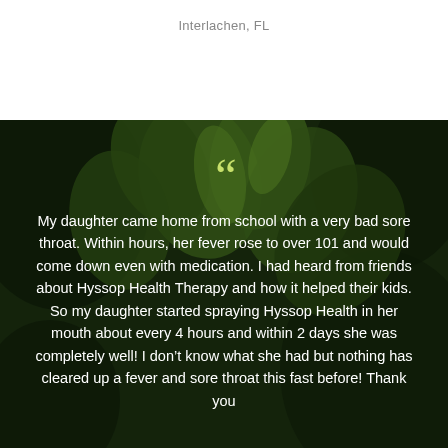Interlachen, FL
[Figure (photo): Dark green herb/plant leaves background with white testimonial text and a yellow-green opening quotation mark overlay]
My daughter came home from school with a very bad sore throat. Within hours, her fever rose to over 101 and would come down even with medication. I had heard from friends about Hyssop Health Therapy and how it helped their kids. So my daughter started spraying Hyssop Health in her mouth about every 4 hours and within 2 days she was completely well! I don't know what she had but nothing has cleared up a fever and sore throat this fast before! Thank you